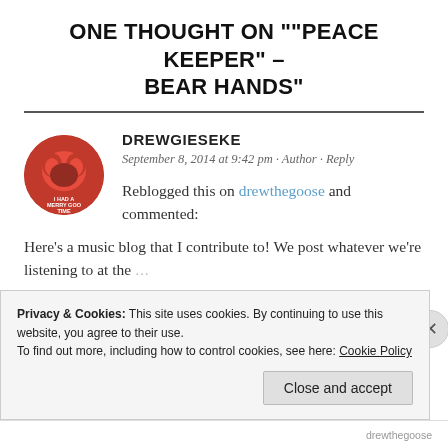ONE THOUGHT ON ""PEACE KEEPER" – BEAR HANDS"
DREWGIESEKE
September 8, 2014 at 9:42 pm · Author · Reply
Reblogged this on drewthegoose and commented:
Here's a music blog that I contribute to! We post whatever we're listening to at the
Privacy & Cookies: This site uses cookies. By continuing to use this website, you agree to their use. To find out more, including how to control cookies, see here: Cookie Policy
Close and accept